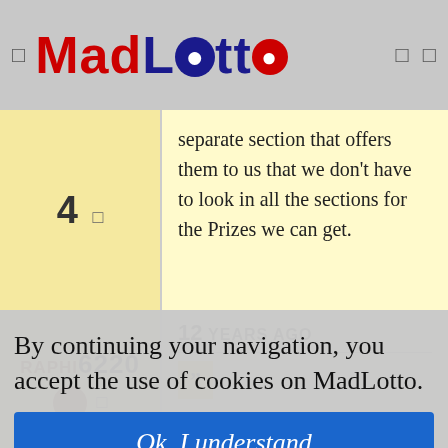MadLotto
separate section that offers them to us that we don't have to look in all the sections for the Prizes we can get.
RAPHI6220 — 12 YEARS AGO
By continuing your navigation, you accept the use of cookies on MadLotto.
Ok, I understand
392